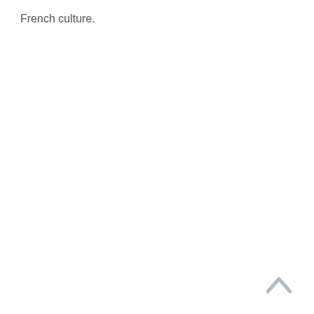French culture.
[Figure (other): A light grey upward-pointing chevron/caret arrow icon in the bottom-right area of the page, used as a scroll-to-top button.]